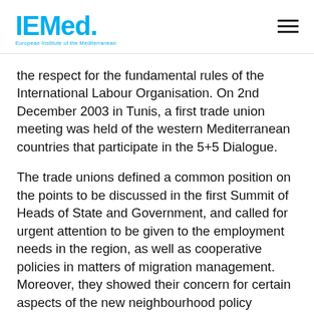IEMed. European Institute of the Mediterranean
the respect for the fundamental rules of the International Labour Organisation. On 2nd December 2003 in Tunis, a first trade union meeting was held of the western Mediterranean countries that participate in the 5+5 Dialogue.
The trade unions defined a common position on the points to be discussed in the first Summit of Heads of State and Government, and called for urgent attention to be given to the employment needs in the region, as well as cooperative policies in matters of migration management. Moreover, they showed their concern for certain aspects of the new neighbourhood policy outlined by the European Commission, and